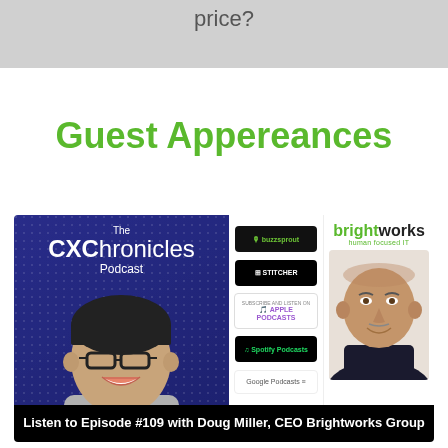price?
Guest Appereances
[Figure (illustration): CXChronicles Podcast artwork with podcast app badges on the right and Brightworks human focused IT logo with photo of Doug Miller, CEO on the far right. Bottom bar reads: Listen to Episode #109 with Doug Miller, CEO Brightworks Group]